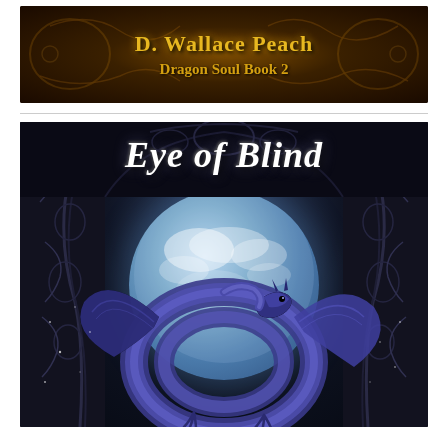[Figure (illustration): Banner image with ornate dark brown/gold filigree background showing author name 'D. Wallace Peach' and series title 'Dragon Soul Book 2' in gold text]
[Figure (illustration): Book cover for 'Eye of Blind' by D. Wallace Peach, Dragon Soul Book 2. Dark fantasy cover featuring ornate dark gothic arch with intricate scrollwork on sides, a large blue moon with cloudy sky visible through the arch, title 'Eye of Blind' in large white serif text at top, and a large stylized blue/purple dragon in a spiral pose at the bottom center.]